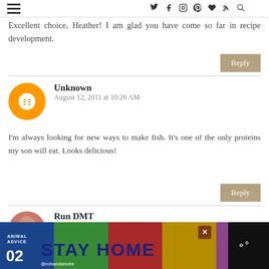Excellent choice, Heather!  I am glad you have come so far in recipe development.
Reply
Unknown
August 12, 2011 at 10:20 AM
I'm always looking for new ways to make fish. It's one of the only proteins my son will eat. Looks delicious!
Reply
Run DMT
August 12, 2011 at 10:45 AM
[Figure (screenshot): Advertisement banner: ANIMAL ADVICE STAY HOME 02 @rohandahotre with colorful striped background and mushroom illustration]